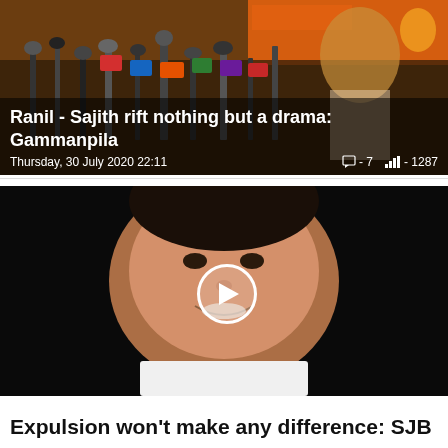[Figure (photo): Press conference scene with multiple microphones and a speaker in background with orange party banner]
Ranil - Sajith rift nothing but a drama: Gammanpila
Thursday, 30 July 2020 22:11  🗨 - 7  📶 - 1287
[Figure (photo): Video thumbnail of a smiling man in white shirt on black background with play button overlay]
Expulsion won't make any difference: SJB